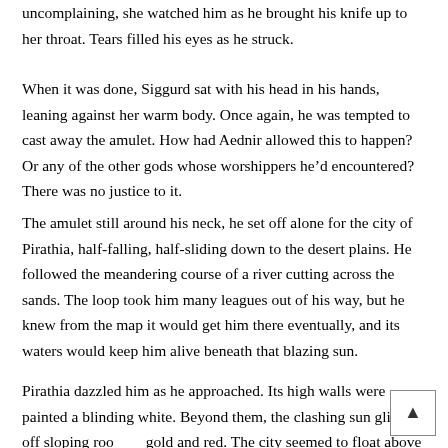uncomplaining, she watched him as he brought his knife up to her throat. Tears filled his eyes as he struck.
When it was done, Siggurd sat with his head in his hands, leaning against her warm body. Once again, he was tempted to cast away the amulet. How had Aednir allowed this to happen? Or any of the other gods whose worshippers he'd encountered? There was no justice to it.
The amulet still around his neck, he set off alone for the city of Pirathia, half-falling, half-sliding down to the desert plains. He followed the meandering course of a river cutting across the sands. The loop took him many leagues out of his way, but he knew from the map it would get him there eventually, and its waters would keep him alive beneath that blazing sun.
Pirathia dazzled him as he approached. Its high walls were painted a blinding white. Beyond them, the clashing sun glinted off sloping roofs of gold and red. The city seemed to float above the shimmering heat-ha...